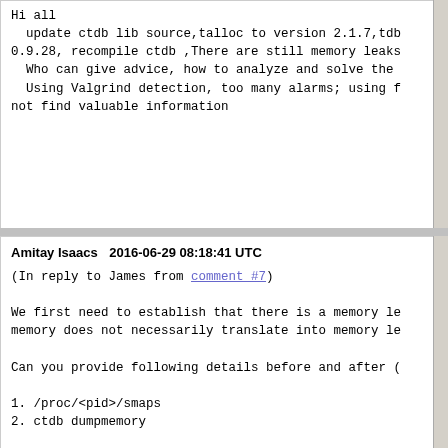Hi all
  update ctdb lib source,talloc to version 2.1.7,tdb 0.9.28, recompile ctdb ,There are still memory leaks
  Who can give advice, how to analyze and solve the
  Using Valgrind detection, too many alarms; using f not find valuable information
Amitay Isaacs    2016-06-29 08:18:41 UTC
(In reply to James from comment #7)

We first need to establish that there is a memory le memory does not necessarily translate into memory le

Can you provide following details before and after (

1. /proc/<pid>/smaps
2. ctdb dumpmemory

Please attach the output as files.

Also, note that CTDB 2.5.x is out of support.  There Please upgrade to newer version of CTDB.
James    2016-06-29 13:19:22 UTC
Hi all
ctdb info: